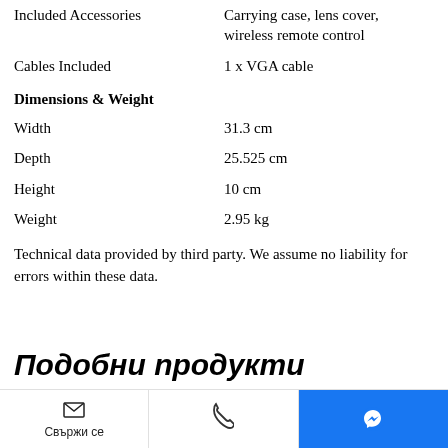| Included Accessories | Carrying case, lens cover, wireless remote control |
| Cables Included | 1 x VGA cable |
| Dimensions & Weight |  |
| Width | 31.3 cm |
| Depth | 25.525 cm |
| Height | 10 cm |
| Weight | 2.95 kg |
Technical data provided by third party. We assume no liability for errors within these data.
Подобни продукти
Свържи се